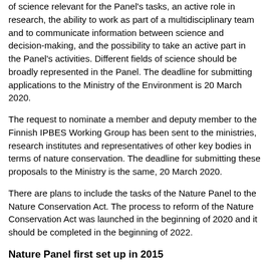of science relevant for the Panel's tasks, an active role in research, the ability to work as part of a multidisciplinary team and to communicate information between science and decision-making, and the possibility to take an active part in the Panel's activities. Different fields of science should be broadly represented in the Panel. The deadline for submitting applications to the Ministry of the Environment is 20 March 2020.
The request to nominate a member and deputy member to the Finnish IPBES Working Group has been sent to the ministries, research institutes and representatives of other key bodies in terms of nature conservation. The deadline for submitting these proposals to the Ministry is the same, 20 March 2020.
There are plans to include the tasks of the Nature Panel to the Nature Conservation Act. The process to reform of the Nature Conservation Act was launched in the beginning of 2020 and it should be completed in the beginning of 2022.
Nature Panel first set up in 2015
The Ministry of the Environment appointed the first Nature Panel in